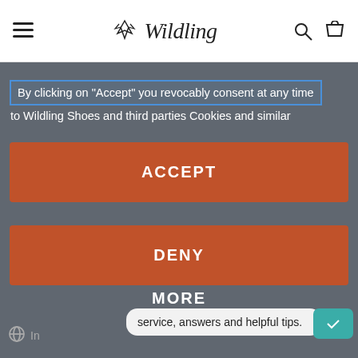[Figure (screenshot): Wildling brand nav bar with hamburger menu, logo (fox icon + cursive Wildling text), search and cart icons on white background]
By clicking on "Accept" you revocably consent at any time to Wildling Shoes and third parties Cookies and similar
ACCEPT
DENY
MORE
Powered by usercentrics & TRUSTED SHOPS
service, answers and helpful tips.
In...